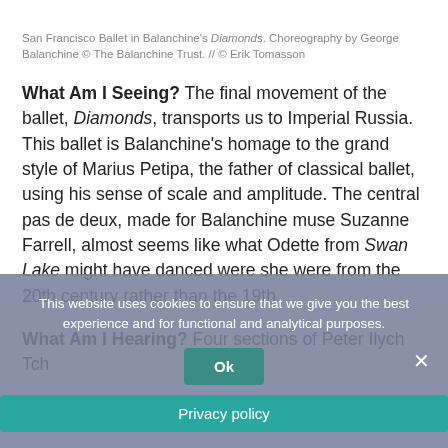San Francisco Ballet in Balanchine's Diamonds. Choreography by George Balanchine © The Balanchine Trust. // © Erik Tomasson
What Am I Seeing? The final movement of the ballet, Diamonds, transports us to Imperial Russia. This ballet is Balanchine's homage to the grand style of Marius Petipa, the father of classical ballet, using his sense of scale and amplitude. The central pas de deux, made for Balanchine muse Suzanne Farrell, almost seems like what Odette from Swan Lake might have danced were she were from the 20th century rather than the 19th.
What Am I Hearing? Four sections of Peter Ilych Tchaikovsky's Symphony No. 3 in B Major, the so-called...
This website uses cookies to ensure that we give you the best experience and for functional and analytical purposes.